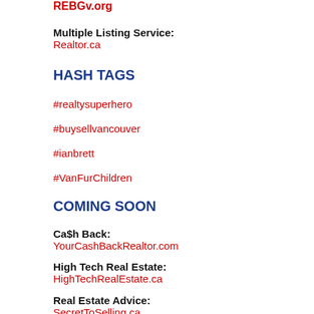REBGv.org
Multiple Listing Service:
Realtor.ca
HASH TAGS
#realtysuperhero
#buysellvancouver
#ianbrett
#VanFurChildren
COMING SOON
Ca$h Back:
YourCashBackRealtor.com
High Tech Real Estate:
HighTechRealEstate.ca
Real Estate Advice:
SecretToSelling.ca
FREE Realty...